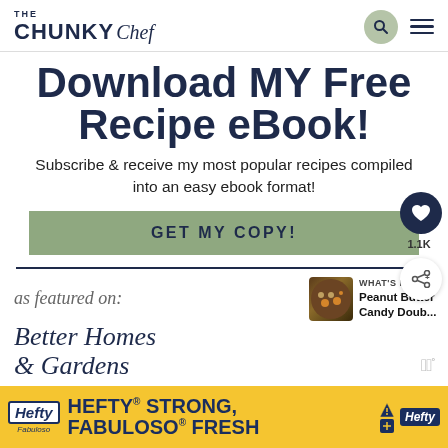THE CHUNKY Chef
Download MY Free Recipe eBook!
Subscribe & receive my most popular recipes compiled into an easy ebook format!
GET MY COPY!
as featured on:
WHAT'S NEXT → Peanut Butter Candy Doub...
Better Homes & Gardens
[Figure (screenshot): Hefty/Fabuloso advertisement banner: HEFTY® STRONG, FABULOSO® FRESH]
1.1K